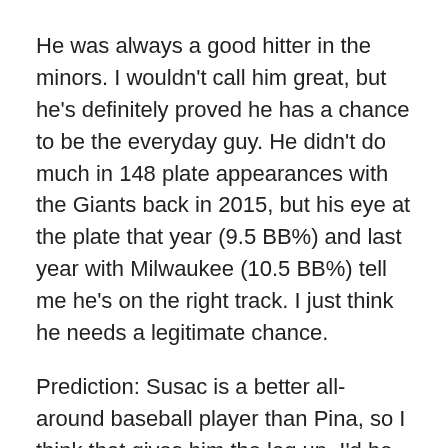He was always a good hitter in the minors. I wouldn't call him great, but he's definitely proved he has a chance to be the everyday guy. He didn't do much in 148 plate appearances with the Giants back in 2015, but his eye at the plate that year (9.5 BB%) and last year with Milwaukee (10.5 BB%) tell me he's on the right track. I just think he needs a legitimate chance.
Prediction: Susac is a better all-around baseball player than Pina, so I think that gives him the leg up. I'd be very surprised if Susac failed to make the roster out of spring training, and I think he has a very good chance to get the Opening day nod from manager Craig Counsell.
Jett Bandy
Like Susac, Bandy will be 27 by the time the season starts